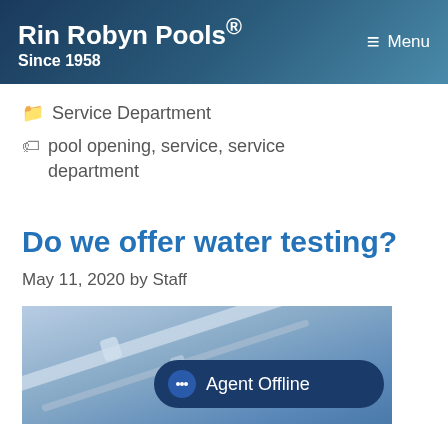Rin Robyn Pools® Since 1958 | Menu
Service Department
pool opening, service, service department
Do we offer water testing?
May 11, 2020 by Staff
[Figure (photo): Photo of pool water testing equipment/tube against a blue-purple background. An 'Agent Offline' chat button overlaid at bottom right.]